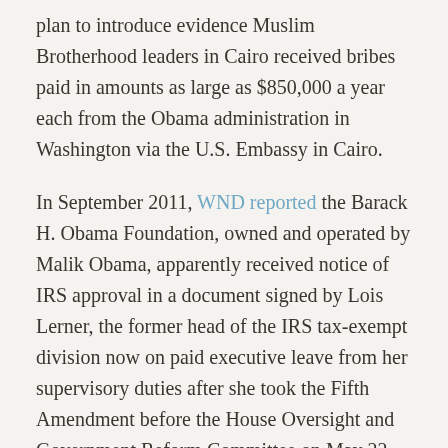plan to introduce evidence Muslim Brotherhood leaders in Cairo received bribes paid in amounts as large as $850,000 a year each from the Obama administration in Washington via the U.S. Embassy in Cairo.
In September 2011, WND reported the Barack H. Obama Foundation, owned and operated by Malik Obama, apparently received notice of IRS approval in a document signed by Lois Lerner, the former head of the IRS tax-exempt division now on paid executive leave from her supervisory duties after she took the Fifth Amendment before the House Oversight and Government Reform Committee on May 22.
She was to be questioned regarding her department's